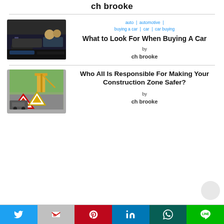ch brooke
[Figure (photo): Two people inside a car, viewed from inside the vehicle looking at the dashboard and windshield]
auto | automotive | buying a car | car | car buying
What to Look For When Buying A Car
by
ch brooke
[Figure (photo): Construction zone with warning triangle signs and a crane/heavy machinery in the background]
Who All Is Responsible For Making Your Construction Zone Safer?
by
ch brooke
Twitter | Gmail | Pinterest | LinkedIn | WhatsApp | Line